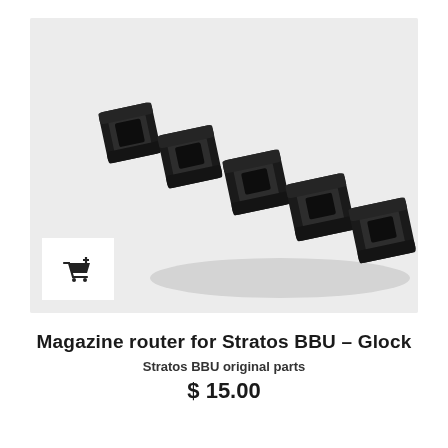[Figure (photo): Five black square rubber/plastic magazine router inserts for Stratos BBU Glock, arranged in a diagonal row from upper-left to lower-right on a light gray background. A white add-to-cart button icon is visible in the lower-left corner of the image.]
Magazine router for Stratos BBU – Glock
Stratos BBU original parts
$ 15.00